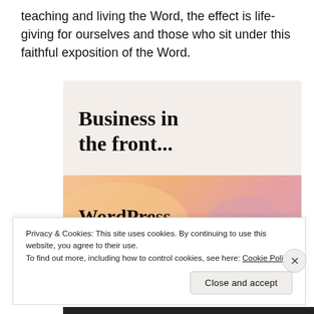teaching and living the Word, the effect is life-giving for ourselves and those who sit under this faithful exposition of the Word.
[Figure (illustration): WordPress advertisement image with two sections: top light beige section with bold text 'Business in the front...', bottom section with warm orange/pink gradient background with circular blob shapes and bold text 'WordPress in the back.']
Privacy & Cookies: This site uses cookies. By continuing to use this website, you agree to their use.
To find out more, including how to control cookies, see here: Cookie Policy
Close and accept